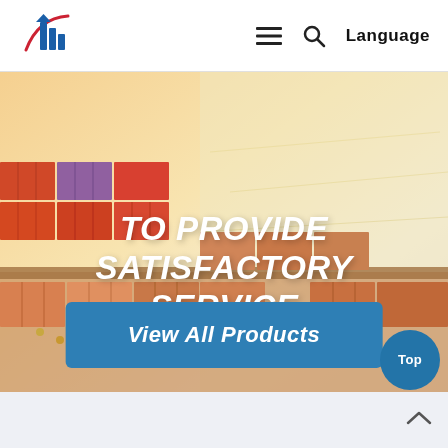[Figure (logo): Company logo with stylized blue building/flag icon and red swoosh]
≡  🔍  Language
[Figure (photo): Aerial view of a cargo ship loaded with colorful shipping containers on the ocean, warm golden sunlight]
TO PROVIDE SATISFACTORY SERVICE
View All Products
Top